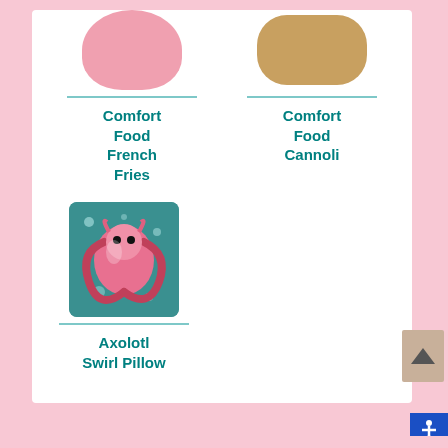[Figure (photo): Pink cartoon comfort food French Fries product image]
Comfort Food French Fries
[Figure (photo): Cannoli cartoon comfort food product image]
Comfort Food Cannoli
[Figure (photo): Axolotl Swirl Pillow with teal background and pink axolotl swirl design]
Axolotl Swirl Pillow